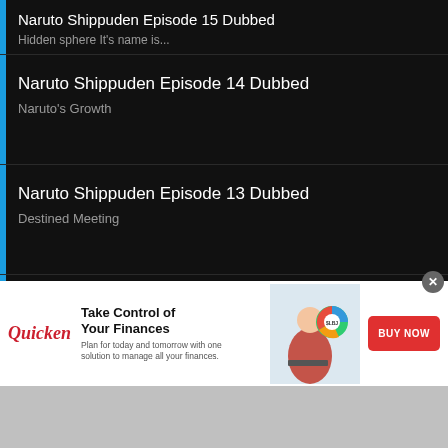Naruto Shippuden Episode 15 Dubbed
Hidden sphere It's name is...
Naruto Shippuden Episode 14 Dubbed
Naruto's Growth
Naruto Shippuden Episode 13 Dubbed
Destined Meeting
Naruto Shippuden Episode 12 Dubbed
The Retired Old Woman's Determination
Naruto Shippuden Episode 11 Dubbed
Apprentice of the Medical Ninja
Naruto Shippuden Episode 10 Dubbed
Sealing Technique - Complete Nine Mystical Dragon Seal
[Figure (infographic): Quicken advertisement banner: Take Control of Your Finances. Plan for today and tomorrow with one solution to manage all your finances. BUY NOW button. Woman with laptop and pie chart graphic.]